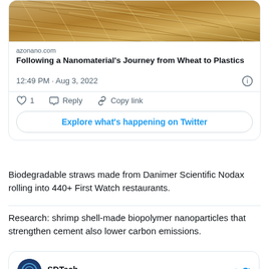[Figure (screenshot): Twitter/X embedded card showing wheat straw image with azonano.com article link titled 'Following a Nanomaterial's Journey from Wheat to Plastics', with timestamp 12:49 PM · Aug 3, 2022, like/reply/copy link actions, and 'Explore what's happening on Twitter' button]
Biodegradable straws made from Danimer Scientific Nodax rolling into 440+ First Watch restaurants.
Research: shrimp shell-made biopolymer nanoparticles that strengthen cement also lower carbon emissions.
[Figure (screenshot): Bottom of Twitter card showing SDTech (@SDTech_Groupe) with Follow link and Twitter bird logo]